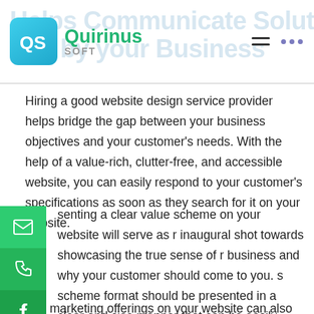[Figure (logo): Quirinus Soft logo with teal QS icon and green Quirinus text, with background watermark text 'Helps Communicate Solutions and by your Business']
Hiring a good website design service provider helps bridge the gap between your business objectives and your customer's needs. With the help of a value-rich, clutter-free, and accessible website, you can easily respond to your customer's specifications as soon as they search for it on your website.
presenting a clear value scheme on your website will serve as r inaugural shot towards showcasing the true sense of r business and why your customer should come to you. s scheme format should be presented in a clear and cise manner that can be easily seen on the homepage by your web visitors.
The marketing offerings on your website can also be